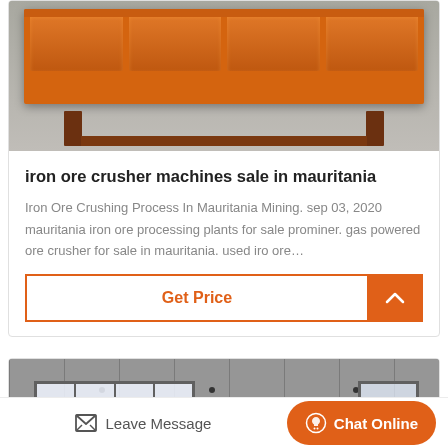[Figure (photo): Orange industrial iron ore crusher machine parts stacked on a stand, photographed in a workshop/outdoor setting with gray concrete background]
iron ore crusher machines sale in mauritania
Iron Ore Crushing Process In Mauritania Mining. sep 03, 2020 mauritania iron ore processing plants for sale prominer. gas powered ore crusher for sale in mauritania. used iro ore…
Get Price
[Figure (photo): Interior of an industrial warehouse or factory building with corrugated metal walls and large windows, showing a gray interior space]
Leave Message
Chat Online